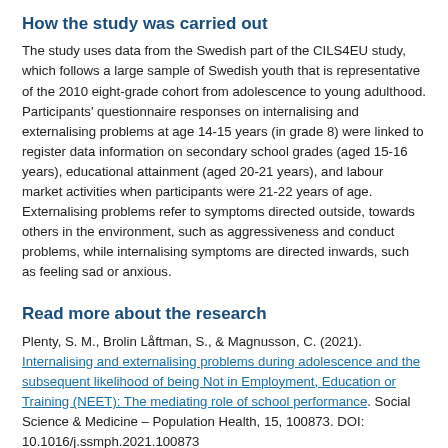How the study was carried out
The study uses data from the Swedish part of the CILS4EU study, which follows a large sample of Swedish youth that is representative of the 2010 eight-grade cohort from adolescence to young adulthood. Participants' questionnaire responses on internalising and externalising problems at age 14-15 years (in grade 8) were linked to register data information on secondary school grades (aged 15-16 years), educational attainment (aged 20-21 years), and labour market activities when participants were 21-22 years of age. Externalising problems refer to symptoms directed outside, towards others in the environment, such as aggressiveness and conduct problems, while internalising symptoms are directed inwards, such as feeling sad or anxious.
Read more about the research
Plenty, S. M., Brolin Låftman, S., & Magnusson, C. (2021). Internalising and externalising problems during adolescence and the subsequent likelihood of being Not in Employment, Education or Training (NEET): The mediating role of school performance. Social Science & Medicine – Population Health, 15, 100873. DOI: 10.1016/j.ssmph.2021.100873
Contact
Stephanie Plenty, associate professor (docent) of sociology